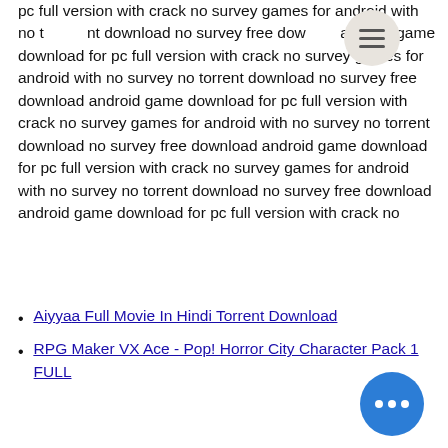pc full version with crack no survey games for android with no torrent download no survey free download android game download for pc full version with crack no survey games for android with no survey no torrent download no survey free download android game download for pc full version with crack no survey games for android with no survey no torrent download no survey free download android game download for pc full version with crack no survey games for android with no survey no torrent download no survey free download android game download for pc full version with crack no
Aiyyaa Full Movie In Hindi Torrent Download
RPG Maker VX Ace - Pop! Horror City Character Pack 1 FULL